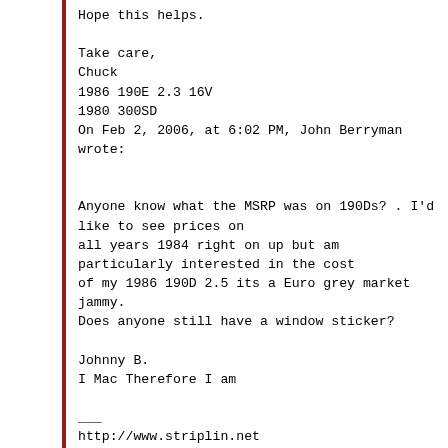Hope this helps.

Take care,
Chuck
1986 190E 2.3 16V
1980 300SD
On Feb 2, 2006, at 6:02 PM, John Berryman wrote:


Anyone know what the MSRP was on 190Ds? . I'd like to see prices on
all years 1984 right on up but am particularly interested in the cost
of my 1986 190D 2.5 its a Euro grey market jammy.
Does anyone still have a window sticker?

Johnny B.
I Mac Therefore I am
___
http://www.striplin.net
For new parts see official list sponsor: